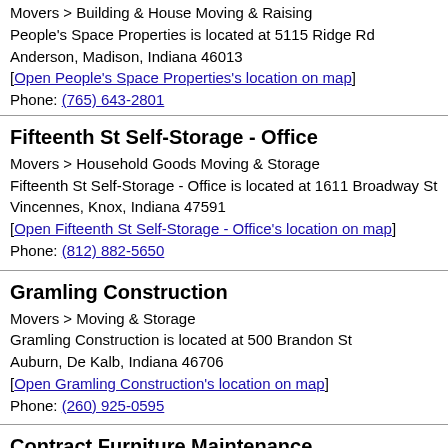Movers > Building & House Moving & Raising
People's Space Properties is located at 5115 Ridge Rd
Anderson, Madison, Indiana 46013
[ Open People's Space Properties's location on map ]
Phone: (765) 643-2801
Fifteenth St Self-Storage - Office
Movers > Household Goods Moving & Storage
Fifteenth St Self-Storage - Office is located at 1611 Broadway St
Vincennes, Knox, Indiana 47591
[ Open Fifteenth St Self-Storage - Office's location on map ]
Phone: (812) 882-5650
Gramling Construction
Movers > Moving & Storage
Gramling Construction is located at 500 Brandon St
Auburn, De Kalb, Indiana 46706
[ Open Gramling Construction's location on map ]
Phone: (260) 925-0595
Contract Furniture Maintenance